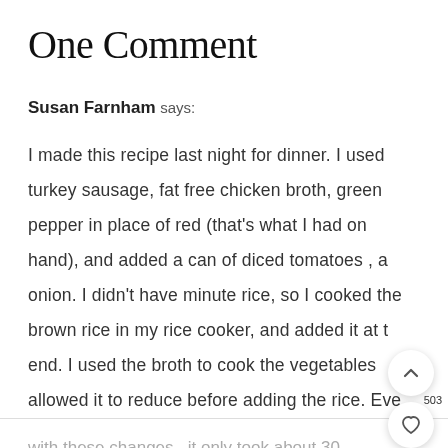One Comment
Susan Farnham says:
I made this recipe last night for dinner. I used turkey sausage, fat free chicken broth, green pepper in place of red (that's what I had on hand), and added a can of diced tomatoes , and onion. I didn't have minute rice, so I cooked the brown rice in my rice cooker, and added it at the end. I used the broth to cook the vegetables and allowed it to reduce before adding the rice. Even with these changes , it only took about 30 minutes to prepare, and was oh so delicious.